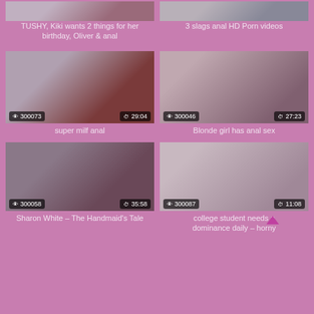[Figure (screenshot): Video thumbnail - TUSHY Kiki birthday]
TUSHY, Kiki wants 2 things for her birthday, Oliver & anal
[Figure (screenshot): Video thumbnail - 3 slags anal]
3 slags anal HD Porn videos
[Figure (screenshot): Video thumbnail - super milf anal, views: 300073, duration: 29:04]
super milf anal
[Figure (screenshot): Video thumbnail - Blonde girl has anal sex, views: 300046, duration: 27:23]
Blonde girl has anal sex
[Figure (screenshot): Video thumbnail - Sharon White The Handmaid's Tale, views: 300058, duration: 35:58]
Sharon White – The Handmaid's Tale
[Figure (screenshot): Video thumbnail - college student needs anal dominance daily horny, views: 300087, duration: 11:08]
college student needs anal dominance daily – horny